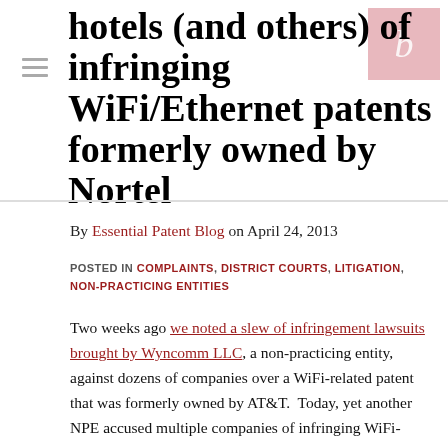hotels (and others) of infringing WiFi/Ethernet patents formerly owned by Nortel
By Essential Patent Blog on April 24, 2013
POSTED IN COMPLAINTS, DISTRICT COURTS, LITIGATION, NON-PRACTICING ENTITIES
Two weeks ago we noted a slew of infringement lawsuits brought by Wyncomm LLC, a non-practicing entity, against dozens of companies over a WiFi-related patent that was formerly owned by AT&T.  Today, yet another NPE accused multiple companies of infringing WiFi-related patents that used to belong to an telecommunications company.  This time, the NPE is an